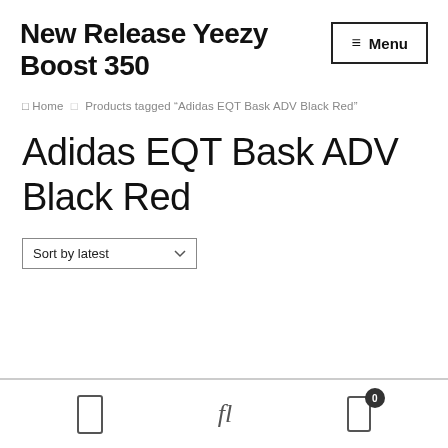New Release Yeezy Boost 350
≡ Menu
Home > Products tagged "Adidas EQT Bask ADV Black Red"
Adidas EQT Bask ADV Black Red
Sort by latest
icons: mobile, fl, cart 0